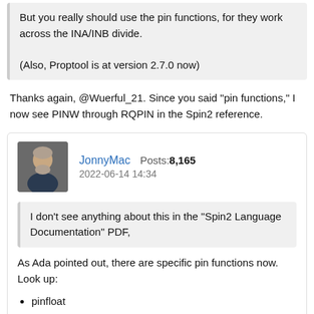But you really should use the pin functions, for they work across the INA/INB divide.

(Also, Proptool is at version 2.7.0 now)
Thanks again, @Wuerful_21. Since you said "pin functions," I now see PINW through RQPIN in the Spin2 reference.
JonnyMac   Posts: 8,165
2022-06-14 14:34
I don't see anything about this in the "Spin2 Language Documentation" PDF,
As Ada pointed out, there are specific pin functions now. Look up:
pinfloat
pinread
pinwrite